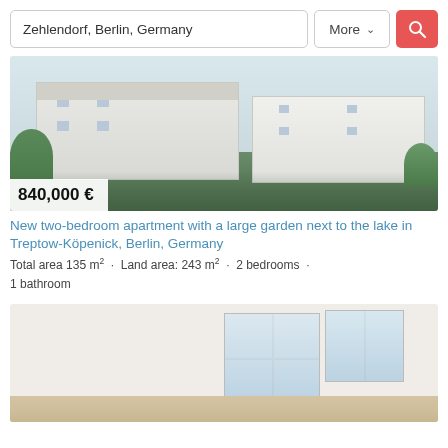Zehlendorf, Berlin, Germany | More | Search
[Figure (photo): Exterior photo of modern white apartment building with garden and trees]
840,000 €
New two-bedroom apartment with a large garden next to the lake in Treptow-Köpenick, Berlin, Germany
Total area 135 m² · Land area: 243 m² · 2 bedrooms · 1 bathroom
[Figure (photo): Interior photo of bright empty room with large windows]